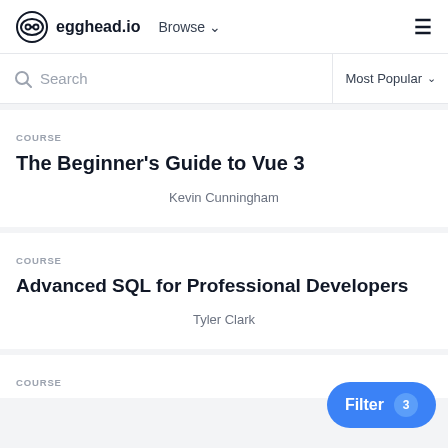egghead.io  Browse  ☰
Search  Most Popular
COURSE
The Beginner's Guide to Vue 3
Kevin Cunningham
COURSE
Advanced SQL for Professional Developers
Tyler Clark
COURSE
Filter 3